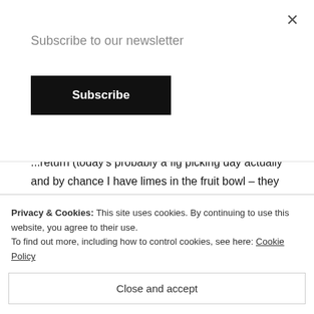Subscribe to our newsletter
Subscribe
...return (today's probably a fig picking day actually and by chance I have limes in the fruit bowl – they were for mojitos but I'll make the sacrifice). I love the citrus in it. I love lime!
Sticky Toffee Fig Rolls.
I'm cheating with this one, I've not made this recipe yet! But the kids have asked for fig rolls and these have got toffee in
Privacy & Cookies: This site uses cookies. By continuing to use this website, you agree to their use.
To find out more, including how to control cookies, see here: Cookie Policy
Close and accept